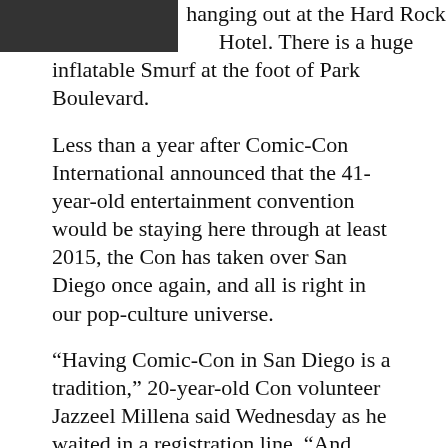[Figure (photo): Partial photo of people at top left corner of page]
hanging out at the Hard Rock Hotel. There is a huge inflatable Smurf at the foot of Park Boulevard.
Less than a year after Comic-Con International announced that the 41-year-old entertainment convention would be staying here through at least 2015, the Con has taken over San Diego once again, and all is right in our pop-culture universe.
“Having Comic-Con in San Diego is a tradition,” 20-year-old Con volunteer Jazzeel Millena said Wednesday as he waited in a registration line. “And moving it would mess with tradition.”
While Anaheim and Los Angeles put up a fierce fight to take over the Comic-Con contract when it expired in 2012, the Con opted to stay here. And as the five-